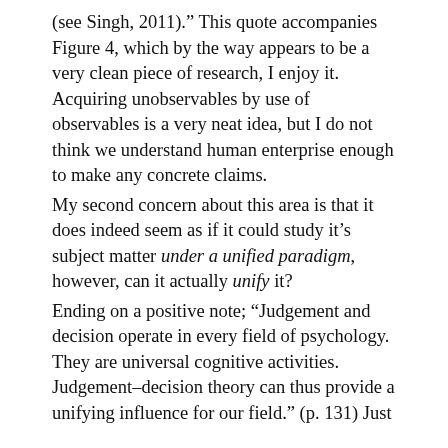(see Singh, 2011).” This quote accompanies Figure 4, which by the way appears to be a very clean piece of research, I enjoy it. Acquiring unobservables by use of observables is a very neat idea, but I do not think we understand human enterprise enough to make any concrete claims.
My second concern about this area is that it does indeed seem as if it could study it’s subject matter under a unified paradigm, however, can it actually unify it?
Ending on a positive note; “Judgement and decision operate in every field of psychology. They are universal cognitive activities. Judgement–decision theory can thus provide a unifying influence for our field.” (p. 131) Just